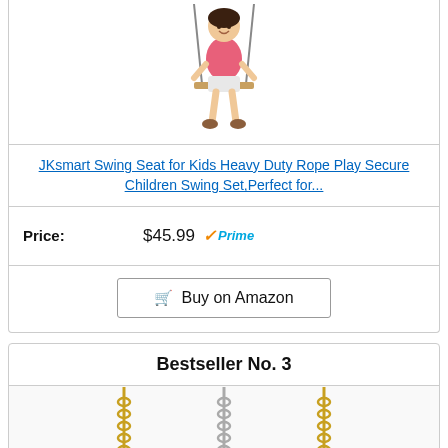[Figure (photo): Photo of a child sitting on a swing, wearing pink top and shorts, viewed from the waist down. Partially cropped at top.]
JKsmart Swing Seat for Kids Heavy Duty Rope Play Secure Children Swing Set,Perfect for...
Price: $45.99 ✓Prime
🛒 Buy on Amazon
Bestseller No. 3
[Figure (photo): Product photo showing swing chains in gold/yellow and silver colors with carabiner clips/hooks.]